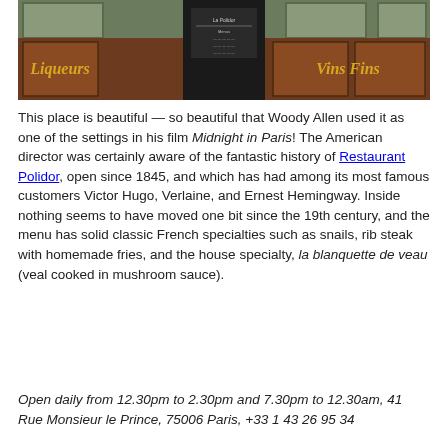[Figure (photo): Exterior facade of Restaurant Polidor in Paris, showing wooden storefront with golden script signs reading 'Liqueurs' on the left and 'Vins Fins' on the right, with a menu board in the center and windows with plants above.]
This place is beautiful — so beautiful that Woody Allen used it as one of the settings in his film Midnight in Paris! The American director was certainly aware of the fantastic history of Restaurant Polidor, open since 1845, and which has had among its most famous customers Victor Hugo, Verlaine, and Ernest Hemingway. Inside nothing seems to have moved one bit since the 19th century, and the menu has solid classic French specialties such as snails, rib steak with homemade fries, and the house specialty, la blanquette de veau (veal cooked in mushroom sauce).
Open daily from 12.30pm to 2.30pm and 7.30pm to 12.30am, 41 Rue Monsieur le Prince, 75006 Paris, +33 1 43 26 95 34